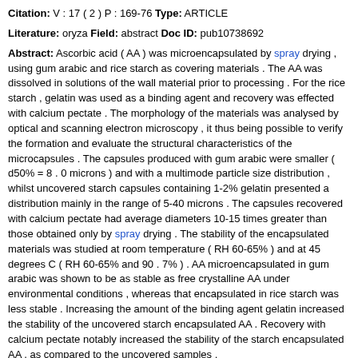Citation: V : 17 ( 2 ) P : 169-76 Type: ARTICLE
Literature: oryza Field: abstract Doc ID: pub10738692
Abstract: Ascorbic acid ( AA ) was microencapsulated by spray drying , using gum arabic and rice starch as covering materials . The AA was dissolved in solutions of the wall material prior to processing . For the rice starch , gelatin was used as a binding agent and recovery was effected with calcium pectate . The morphology of the materials was analysed by optical and scanning electron microscopy , it thus being possible to verify the formation and evaluate the structural characteristics of the microcapsules . The capsules produced with gum arabic were smaller ( d50% = 8 . 0 microns ) and with a multimode particle size distribution , whilst uncovered starch capsules containing 1-2% gelatin presented a distribution mainly in the range of 5-40 microns . The capsules recovered with calcium pectate had average diameters 10-15 times greater than those obtained only by spray drying . The stability of the encapsulated materials was studied at room temperature ( RH 60-65% ) and at 45 degrees C ( RH 60-65% and 90 . 7% ) . AA microencapsulated in gum arabic was shown to be as stable as free crystalline AA under environmental conditions , whereas that encapsulated in rice starch was less stable . Increasing the amount of the binding agent gelatin increased the stability of the uncovered starch encapsulated AA . Recovery with calcium pectate notably increased the stability of the starch encapsulated AA , as compared to the uncovered samples .
Matching Sentences:
[ Sen. 1, subscore: 1.00 ]: Ascorbic acid ( AA ) was microencapsulated by spray drying , using gum arabic and rice starch as covering materials . The AA was dissolved in solutions of the wall material prior to processing . For the rice starch , gelatin was used